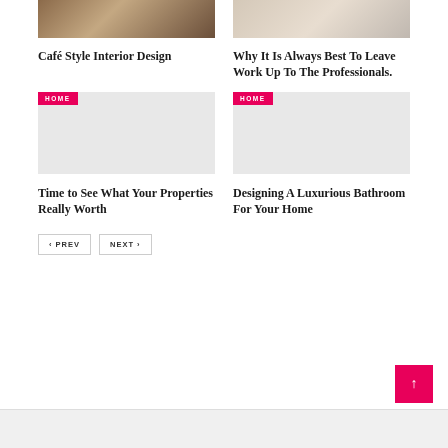[Figure (photo): Café style interior with counter and bar stools, warm brown tones]
[Figure (photo): Person at desk with laptop and candle, home office scene]
Café Style Interior Design
Why It Is Always Best To Leave Work Up To The Professionals.
[Figure (photo): Light gray placeholder image with HOME badge]
[Figure (photo): Light gray placeholder image with HOME badge]
Time to See What Your Properties Really Worth
Designing A Luxurious Bathroom For Your Home
PREV
NEXT